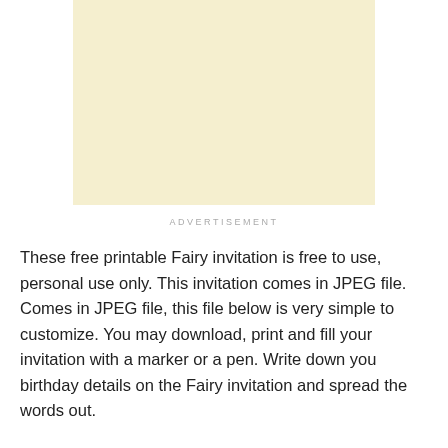[Figure (other): A blank cream/beige colored rectangle representing an advertisement placeholder]
ADVERTISEMENT
These free printable Fairy invitation is free to use, personal use only. This invitation comes in JPEG file. Comes in JPEG file, this file below is very simple to customize. You may download, print and fill your invitation with a marker or a pen. Write down you birthday details on the Fairy invitation and spread the words out.